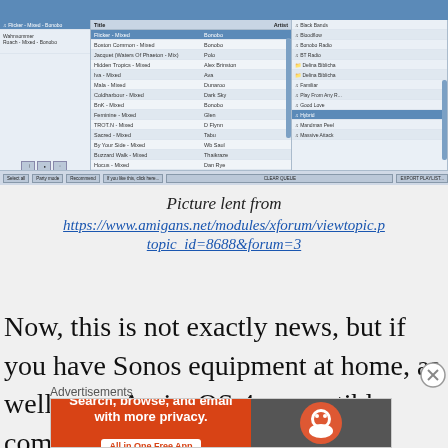[Figure (screenshot): Screenshot of a music player application (appears to be a Sonos/AmigaOS related music queue interface) showing three panels: left panel with playlist items, middle panel with a queue of mixed tracks including artists like Bonobo, Polo, Alex Brinston, Dunaroo, Dark Sky, etc., and right panel with a list of radio stations/playlists including Black Bands, Bloodflow, Bonobo Radio, BT Radio, Delina Biblicha, Familiar, Play From Any R, Good Love, Hybrid (highlighted), Mandman Peel, Massive Attack. Bottom bar shows buttons: Select all, Party mode, Recommend, If you like this click here, Clear Queue, Export Playlist.]
Picture lent from https://www.amigans.net/modules/xforum/viewtopic.p topic_id=8688&forum=3
Now, this is not exactly news, but if you have Sonos equipment at home, as well as an AmigaOS 4 compatible computer, you might be
Advertisements
[Figure (screenshot): DuckDuckGo advertisement banner: orange left side with text 'Search, browse, and email with more privacy. All in One Free App' and dark right side with DuckDuckGo logo]